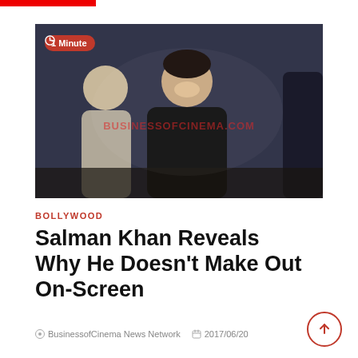[Figure (photo): Salman Khan smiling on stage in a black long-sleeve shirt, with another man in a grey shirt visible behind him. The image has a BUSINESSOFCINEMA.COM watermark and a '1 Minute' red pill badge in the upper left.]
BOLLYWOOD
Salman Khan Reveals Why He Doesn't Make Out On-Screen
BusinessofCinema News Network   2017/06/20